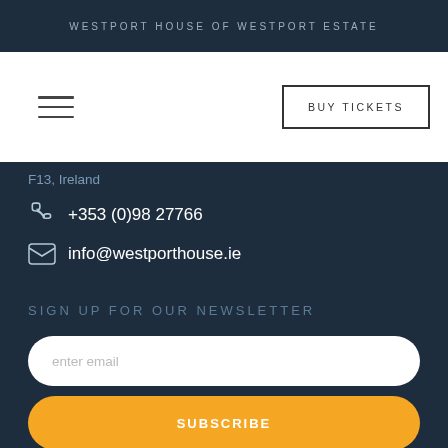WESTPORT HOUSE OF WESTPORT ESTATE
[Figure (other): Hamburger menu icon (three horizontal lines)]
BUY TICKETS
F13, Ireland
+353 (0)98 27766
info@westporthouse.ie
SIGN UP FOR OUR NEWSLETTER
enter email
SUBSCRIBE